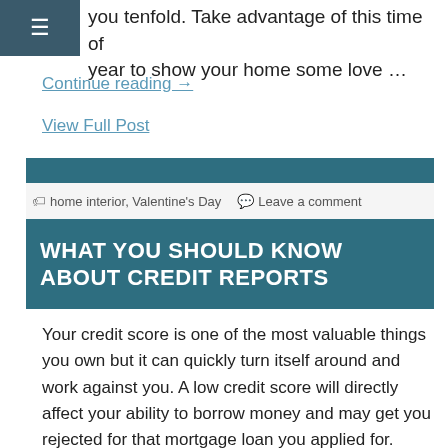you tenfold. Take advantage of this time of year to show your home some love …
Continue reading →
View Full Post
home interior, Valentine's Day  Leave a comment
WHAT YOU SHOULD KNOW ABOUT CREDIT REPORTS
Your credit score is one of the most valuable things you own but it can quickly turn itself around and work against you. A low credit score will directly affect your ability to borrow money and may get you rejected for that mortgage loan you applied for. With a low score you may get your …